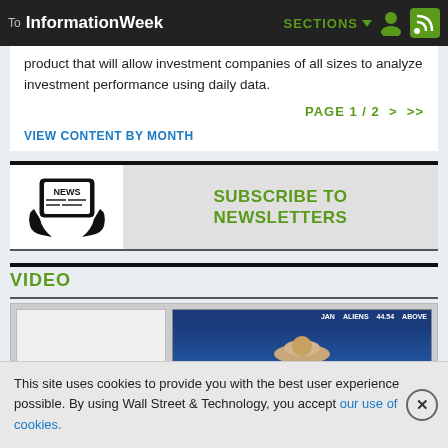To InformationWeek  SECTIONS
product that will allow investment companies of all sizes to analyze investment performance using daily data.
PAGE 1 / 2  >  >>
VIEW CONTENT BY MONTH
[Figure (infographic): Subscribe to Newsletters banner with newspaper/hands icon on left and green bold text 'SUBSCRIBE TO NEWSLETTERS' on right]
VIDEO
[Figure (screenshot): Two video thumbnail images side by side inside a bordered video section]
This site uses cookies to provide you with the best user experience possible. By using Wall Street & Technology, you accept our use of cookies.